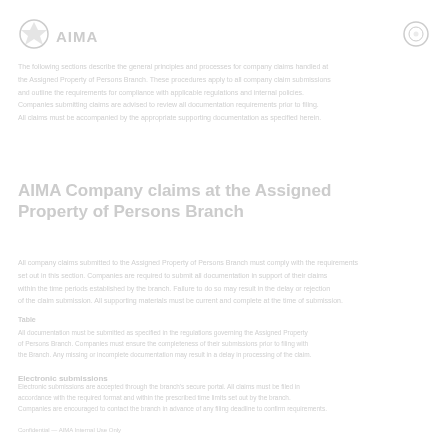AIMA | Company claims at the Assigned Property of Persons Branch
The following sections describe the general principles and processes for company claims handled at the Assigned Property of Persons Branch. These procedures apply to all company claim submissions.
AIMA Company claims at the Assigned Property of Persons Branch
All company claims submitted to the Assigned Property of Persons Branch must comply with the requirements set out in this section. Companies are required to submit all documentation in support of their claims within the time periods established by the branch.
Table
All documentation must be submitted as specified in the regulations. Companies must ensure completeness of their submissions prior to filing.
Electronic submissions
Electronic submissions are accepted through the branch's secure portal. All claims must be filed in accordance with the required format and within the prescribed time limits.
Confidential — AIMA Internal Use Only